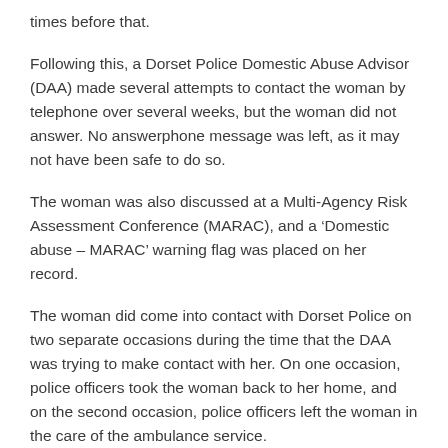times before that.
Following this, a Dorset Police Domestic Abuse Advisor (DAA) made several attempts to contact the woman by telephone over several weeks, but the woman did not answer. No answerphone message was left, as it may not have been safe to do so.
The woman was also discussed at a Multi-Agency Risk Assessment Conference (MARAC), and a ‘Domestic abuse – MARAC’ warning flag was placed on her record.
The woman did come into contact with Dorset Police on two separate occasions during the time that the DAA was trying to make contact with her. On one occasion, police officers took the woman back to her home, and on the second occasion, police officers left the woman in the care of the ambulance service.
On 26 August 2018, after receiving a report by phone, Dorset Police went to the woman’s home and found she had received serious injuries. She was